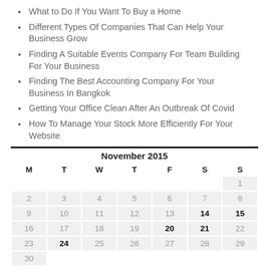What to Do If You Want To Buy a Home
Different Types Of Companies That Can Help Your Business Grow
Finding A Suitable Events Company For Team Building For Your Business
Finding The Best Accounting Company For Your Business In Bangkok
Getting Your Office Clean After An Outbreak Of Covid
How To Manage Your Stock More Efficiently For Your Website
| M | T | W | T | F | S | S |
| --- | --- | --- | --- | --- | --- | --- |
|  |  |  |  |  |  | 1 |
| 2 | 3 | 4 | 5 | 6 | 7 | 8 |
| 9 | 10 | 11 | 12 | 13 | 14 | 15 |
| 16 | 17 | 18 | 19 | 20 | 21 | 22 |
| 23 | 24 | 25 | 26 | 27 | 28 | 29 |
| 30 |  |  |  |  |  |  |